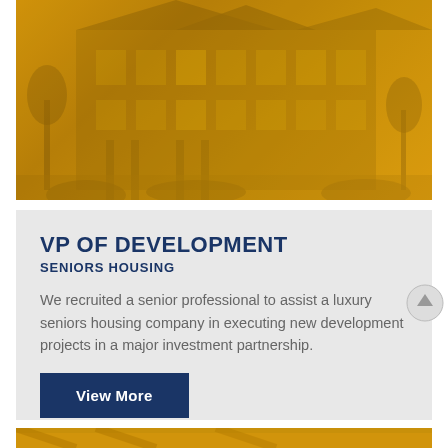[Figure (photo): Photo of a luxury seniors housing building with a golden/amber color overlay applied over the architectural exterior photo showing a multi-story residential building with columns and landscaping.]
VP OF DEVELOPMENT
SENIORS HOUSING
We recruited a senior professional to assist a luxury seniors housing company in executing new development projects in a major investment partnership.
View More
[Figure (photo): Bottom partial strip showing the top portion of another card with a golden/amber overlay on a building photo.]